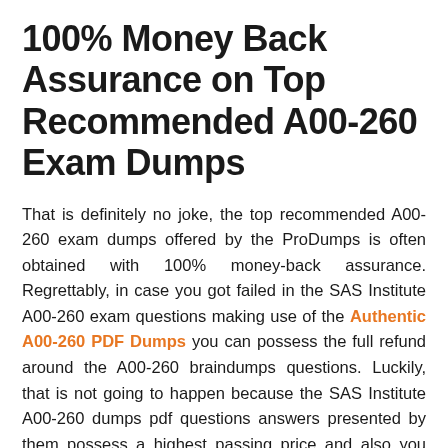100% Money Back Assurance on Top Recommended A00-260 Exam Dumps
That is definitely no joke, the top recommended A00-260 exam dumps offered by the ProDumps is often obtained with 100% money-back assurance. Regrettably, in case you got failed in the SAS Institute A00-260 exam questions making use of the Authentic A00-260 PDF Dumps you can possess the full refund around the A00-260 braindumps questions. Luckily, that is not going to happen because the SAS Institute A00-260 dumps pdf questions answers presented by them possess a highest passing price and also you can attest that reality by going by way of the testimonials of the top demanded A00-260 exam dumps questions